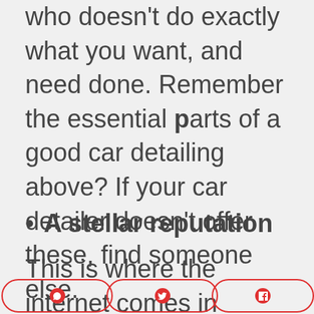who doesn't do exactly what you want, and need done. Remember the essential parts of a good car detailing above? If your car detailer doesn't offer these, find someone else.
A stellar reputation
This is where the internet comes in useful. Look up your prospective detailer and see what other people